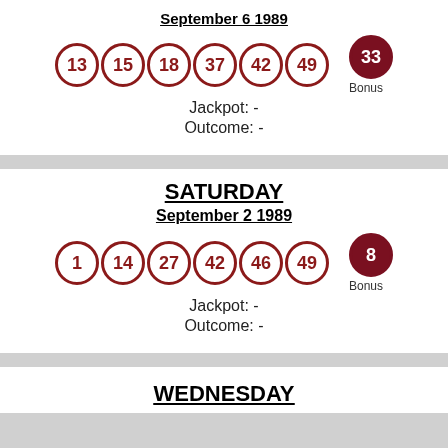September 6 1989
[Figure (infographic): Lottery balls: 13, 15, 18, 37, 42, 49 (outline) and 33 Bonus (filled dark red)]
Jackpot: -
Outcome: -
SATURDAY September 2 1989
[Figure (infographic): Lottery balls: 1, 14, 27, 42, 46, 49 (outline) and 8 Bonus (filled dark red)]
Jackpot: -
Outcome: -
WEDNESDAY